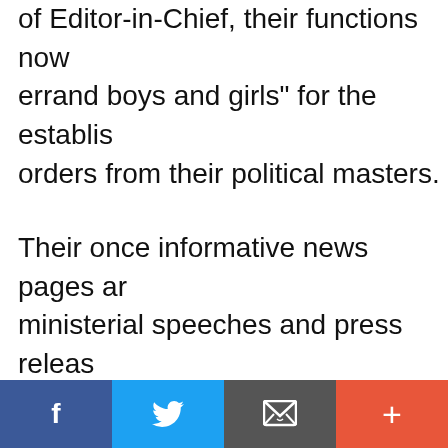of Editor-in-Chief, their functions now errand boys and girls" for the establishment, orders from their political masters.
Their once informative news pages and ministerial speeches and press releases. Op-Ed columns are today reduced to praising the current leaders.
Malaysians are fully aware of this reality, papers' declining circulation, readers credibility. These papers are easily...
[Figure (other): Social media sharing bar with four buttons: Facebook (blue), Twitter (light blue), Email/envelope (dark grey), and Add/plus (orange-red)]